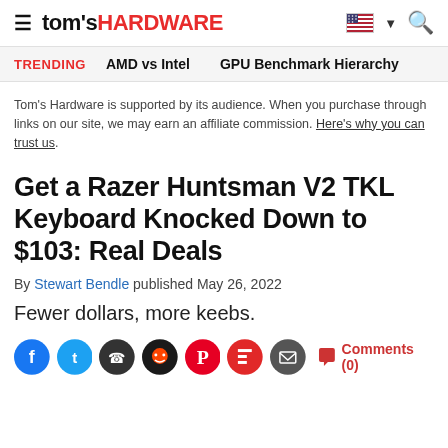tom's HARDWARE
TRENDING  AMD vs Intel  GPU Benchmark Hierarchy
Tom's Hardware is supported by its audience. When you purchase through links on our site, we may earn an affiliate commission. Here's why you can trust us.
Get a Razer Huntsman V2 TKL Keyboard Knocked Down to $103: Real Deals
By Stewart Bendle published May 26, 2022
Fewer dollars, more keebs.
Comments (0)